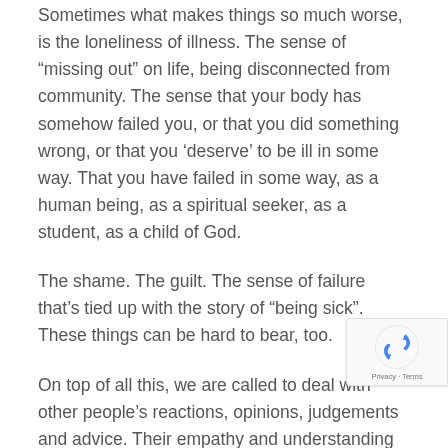Sometimes what makes things so much worse, is the loneliness of illness. The sense of “missing out” on life, being disconnected from community. The sense that your body has somehow failed you, or that you did something wrong, or that you ‘deserve’ to be ill in some way. That you have failed in some way, as a human being, as a spiritual seeker, as a student, as a child of God.
The shame. The guilt. The sense of failure that’s tied up with the story of “being sick”. These things can be hard to bear, too.
On top of all this, we are called to deal with other people’s reactions, opinions, judgements and advice. Their empathy and understanding for us… or their lack of
A journey into profound uncertainty